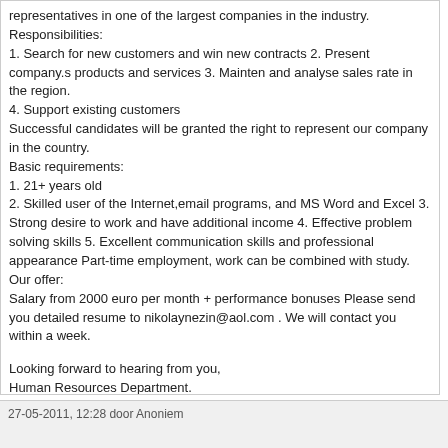representatives in one of the largest companies in the industry.
Responsibilities:
1. Search for new customers and win new contracts 2. Present company.s products and services 3. Mainten and analyse sales rate in the region.
4. Support existing customers
Successful candidates will be granted the right to represent our company in the country.
Basic requirements:
1. 21+ years old
2. Skilled user of the Internet,email programs, and MS Word and Excel 3. Strong desire to work and have additional income 4. Effective problem solving skills 5. Excellent communication skills and professional appearance Part-time employment, work can be combined with study.
Our offer:
Salary from 2000 euro per month + performance bonuses Please send your detailed resume to nikolaynezin@aol.com . We will contact you within a week.
Looking forward to hearing from you,
Human Resources Department.
27-05-2011, 12:28 door Anoniem